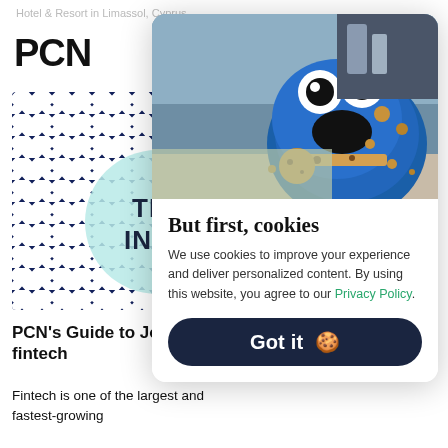Hotel & Resort in Limassol, Cyprus
PCN
[Figure (illustration): Book cover with navy and white chevron zigzag pattern and partial text TR INT visible on a teal circle]
[Figure (photo): Cookie Monster from Sesame Street eating cookies in a kitchen, blue furry monster with googly eyes, chocolate chip cookies and crumbs visible]
But first, cookies
We use cookies to improve your experience and deliver personalized content. By using this website, you agree to our Privacy Policy.
Got it 🍪
PCN's Guide to Jol into fintech
Fintech is one of the largest and fastest-growing